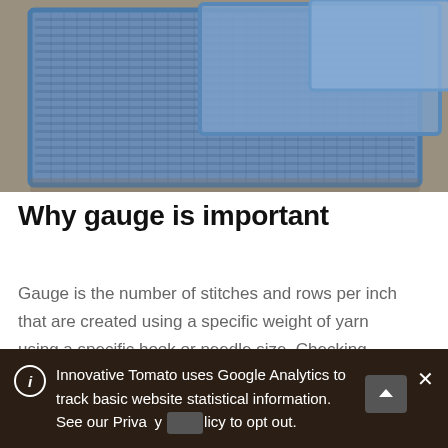[Figure (photo): Close-up photo of blue knitted fabric swatches stacked on a neutral gray background, showing knit stitch texture and borders.]
Why gauge is important
Gauge is the number of stitches and rows per inch that are created using a specific weight of yarn using a specific hook or needle size. Checking gauge is a way for
Innovative Tomato uses Google Analytics to track basic website statistical information. See our Privacy Policy to opt out.